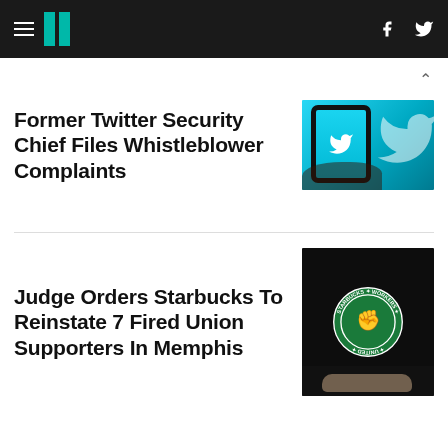HuffPost navigation with hamburger menu, logo, Facebook and Twitter icons
Former Twitter Security Chief Files Whistleblower Complaints
[Figure (photo): Hand holding a smartphone displaying the Twitter bird logo on a bright blue screen, with a large Twitter bird logo in the background]
Judge Orders Starbucks To Reinstate 7 Fired Union Supporters In Memphis
[Figure (photo): Person wearing a black Starbucks Workers United t-shirt with a circular green logo featuring a raised fist]